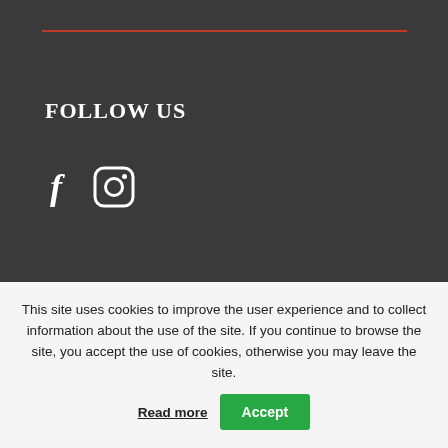FOLLOW US
[Figure (illustration): Social media icons: Facebook (f) and Instagram camera icon in white on dark background]
WOULD YOU LIKE TO KNOW MORE?
CONTACT US
This site uses cookies to improve the user experience and to collect information about the use of the site. If you continue to browse the site, you accept the use of cookies, otherwise you may leave the site. Read more  Accept